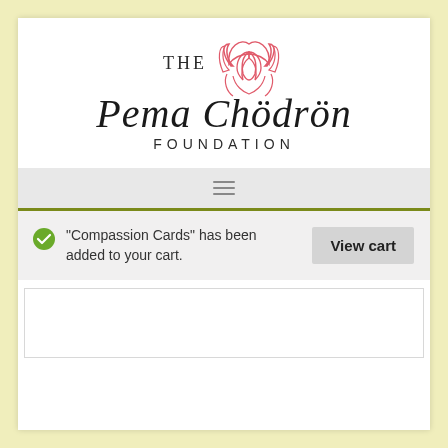[Figure (logo): The Pema Chödrön Foundation logo with a pink lotus flower above the text 'THE Pema Chödrön FOUNDATION']
[Figure (other): Gray navigation bar with hamburger menu icon (three horizontal lines) centered]
"Compassion Cards" has been added to your cart.
View cart
[Figure (other): White content box with border at the bottom of the page, partially visible]